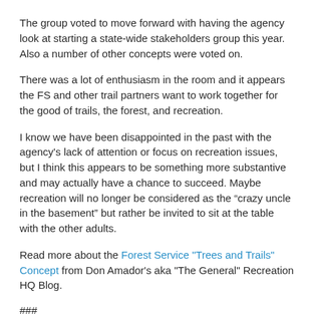The group voted to move forward with having the agency look at starting a state-wide stakeholders group this year. Also a number of other concepts were voted on.
There was a lot of enthusiasm in the room and it appears the FS and other trail partners want to work together for the good of trails, the forest, and recreation.
I know we have been disappointed in the past with the agency's lack of attention or focus on recreation issues, but I think this appears to be something more substantive and may actually have a chance to succeed. Maybe recreation will no longer be considered as the “crazy uncle in the basement” but rather be invited to sit at the table with the other adults.
Read more about the Forest Service "Trees and Trails" Concept from Don Amador's aka "The General" Recreation HQ Blog.
###
Hits: 5031
Print